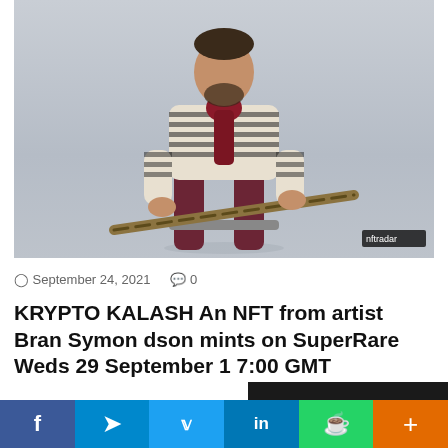[Figure (photo): Man in striped sweater and dark red pants sitting and holding a decorative rifle/weapon, light grey background. Watermark 'nftradar' in bottom right corner.]
September 24, 2021   0
KRYPTO KALASH An NFT from artist Bran Symondson mints on SuperRare Weds 29 September 17:00 GMT